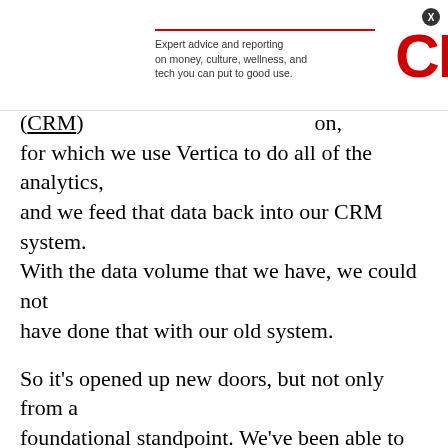[Figure (other): CNET advertisement banner with red tagline bar, text 'Expert advice and reporting on money, culture, wellness, and tech you can put to good use.' and CNET logo in red]
(CRM) ...on, for which we use Vertica to do all of the analytics, and we feed that data back into our CRM system. With the data volume that we have, we could not have done that with our old system.
So it's opened up new doors, but not only from a foundational standpoint. We've been able to meet our daily needs, but we've been able to set ourselves up to be competitive in this area.
Different data
And has being able to gain the speed and handle the complexity prompted you to then seek out additional data to put into your...